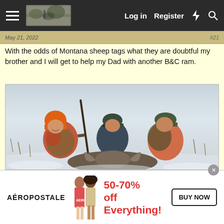Log in  Register
May 21, 2022   #21
With the odds of Montana sheep tags what they are doubtful my brother and I will get to help my Dad with another B&C ram.
[Figure (photo): Three hunters in orange and camouflage gear posing in a snowy field with a harvested bighorn sheep ram and a rifle.]
AÉROPOSTALE  50-70% off Everything!  BUY NOW